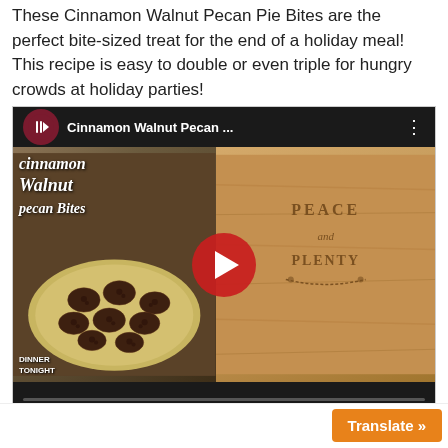These Cinnamon Walnut Pecan Pie Bites are the perfect bite-sized treat for the end of a holiday meal! This recipe is easy to double or even triple for hungry crowds at holiday parties!
[Figure (screenshot): YouTube video embed showing 'Cinnamon Walnut Pecan ...' with thumbnail of pecan pie bites on a plate alongside a wooden cutting board engraved with 'PEACE and PLENTY'. YouTube play button overlay visible. Bottom bar shows video controls.]
[Figure (screenshot): Orange 'Translate »' button in bottom right corner.]